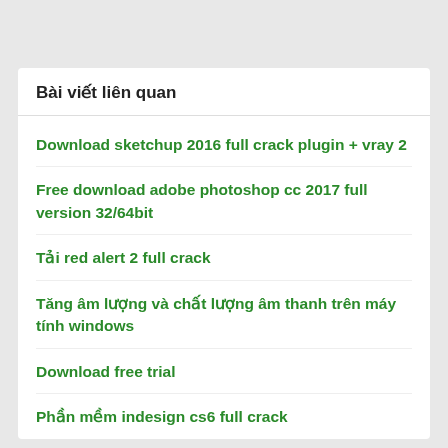Bài viết liên quan
Download sketchup 2016 full crack plugin + vray 2
Free download adobe photoshop cc 2017 full version 32/64bit
Tải red alert 2 full crack
Tăng âm lượng và chất lượng âm thanh trên máy tính windows
Download free trial
Phần mềm indesign cs6 full crack